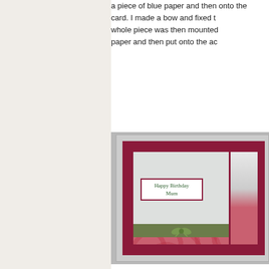a piece of blue paper and then onto the card. I made a bow and fixed the whole piece was then mounted onto paper and then put onto the ac
[Figure (photo): A handmade birthday card mounted on grey background, featuring a pink floral textured lower half, a green ribbon stripe with a bow, a white upper section with a 'Happy Birthday Mum' label box with maroon border, and a partial image on the right side. The card has a maroon inner border and grey outer frame.]